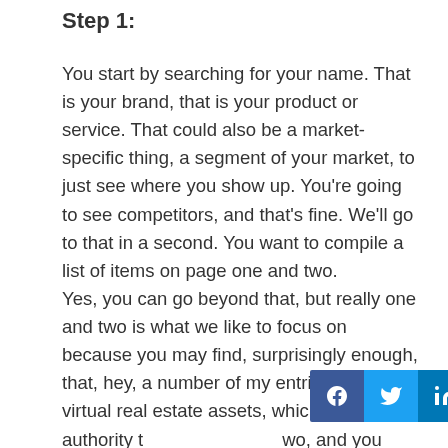Step 1:
You start by searching for your name. That is your brand, that is your product or service. That could also be a market-specific thing, a segment of your market, to just see where you show up. You're going to see competitors, and that's fine. We'll go to that in a second. You want to compile a list of items on page one and two.
Yes, you can go beyond that, but really one and two is what we like to focus on because you may find, surprisingly enough, that, hey, a number of my entries of these virtual real estate assets, which is in the authority to page one and two, and you didn't know that. We can move those to page one.
[Figure (infographic): Social media sharing bar with Facebook, Twitter, LinkedIn, and Pinterest buttons overlaid on the bottom-right of the text.]